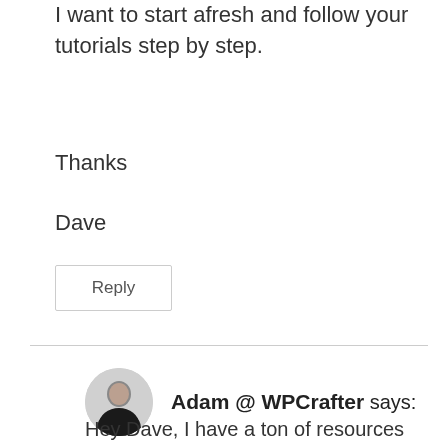I want to start afresh and follow your tutorials step by step.
Thanks
Dave
Reply
Adam @ WPCrafter says:
Hey Dave, I have a ton of resources here on the website that you can search. If you